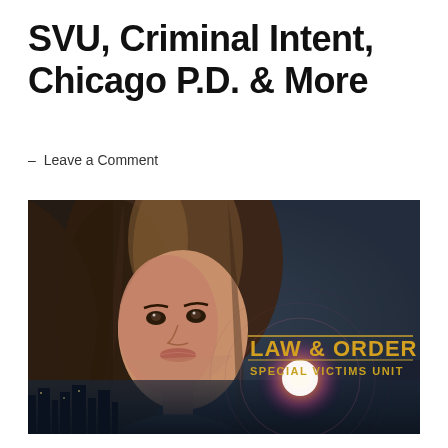SVU, Criminal Intent, Chicago P.D. & More
— Leave a Comment
[Figure (photo): Promotional image for Law & Order Special Victims Unit showing a woman with brown hair against a dark cityscape background, with the show's golden logo text 'LAW & ORDER SPECIAL VICTIMS UNIT' on the right side]